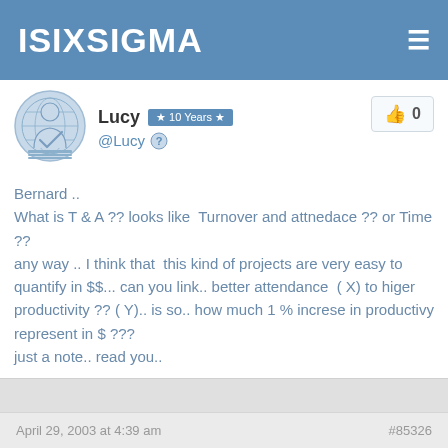ISIXSIGMA
[Figure (illustration): User avatar - stylized person icon with globe/network overlay in blue tones]
Lucy  ★ 10 Years ★  @Lucy
Bernard ..
What is T & A ?? looks like  Turnover and attnedace ?? or Time ??
any way .. I think that  this kind of projects are very easy to quantify in $$... can you link.. better attendance  ( X) to higer productivity ?? ( Y).. is so.. how much 1 % increse in productivy represent in $ ???
just a note.. read you..
April 29, 2003 at 4:39 am  #85326